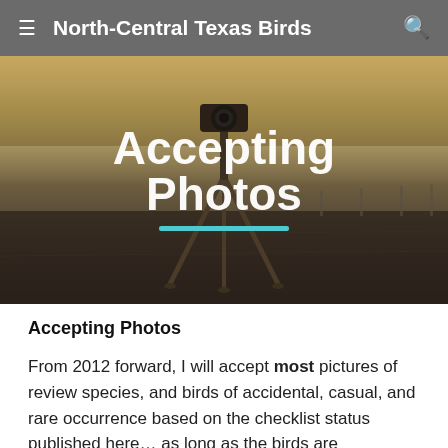North-Central Texas Birds
[Figure (photo): Hero image showing a camera on a tripod in an open field at dusk with foggy/misty landscape, with overlay text 'Accepting Photos' and a teal underline]
Accepting Photos
From 2012 forward, I will accept most pictures of review species, and birds of accidental, casual, and rare occurrence based on the checklist status published here… as long as the birds are identifiable.